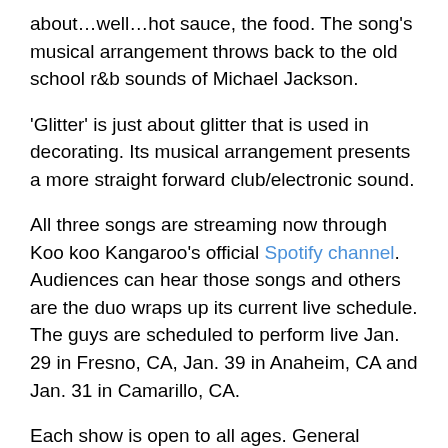about…well…hot sauce, the food.  The song's musical arrangement throws back to the old school r&b sounds of Michael Jackson.
'Glitter' is just about glitter that is used in decorating.  Its musical arrangement presents a more straight forward club/electronic sound.
All three songs are streaming now through Koo koo Kangaroo's official Spotify channel. Audiences can hear those songs and others are the duo wraps up its current live schedule.  The guys are scheduled to perform live Jan. 29 in Fresno, CA, Jan. 39 in Anaheim, CA and Jan. 31 in Camarillo, CA.
Each show is open to all ages. General Admission tickets are $15 and VIP passes are $40. Tickets and VIP